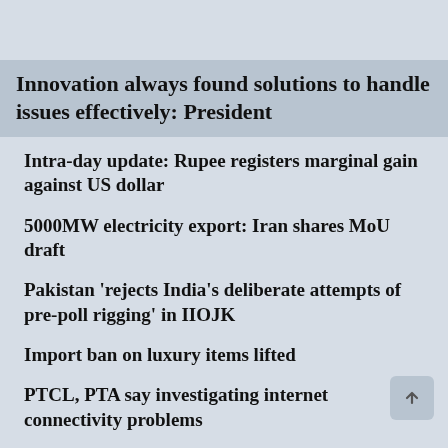Innovation always found solutions to handle issues effectively: President
Intra-day update: Rupee registers marginal gain against US dollar
5000MW electricity export: Iran shares MoU draft
Pakistan 'rejects India's deliberate attempts of pre-poll rigging' in IIOJK
Import ban on luxury items lifted
PTCL, PTA say investigating internet connectivity problems
Export boost: Miftah assures Aptma all-out support